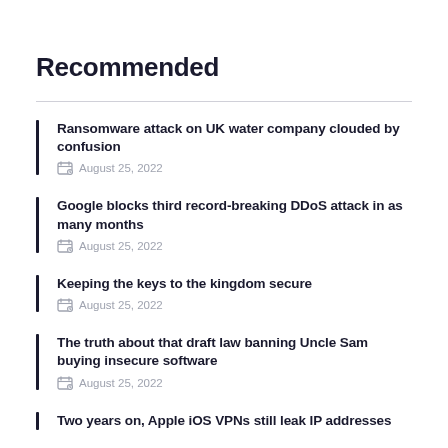Recommended
Ransomware attack on UK water company clouded by confusion
August 25, 2022
Google blocks third record-breaking DDoS attack in as many months
August 25, 2022
Keeping the keys to the kingdom secure
August 25, 2022
The truth about that draft law banning Uncle Sam buying insecure software
August 25, 2022
Two years on, Apple iOS VPNs still leak IP addresses